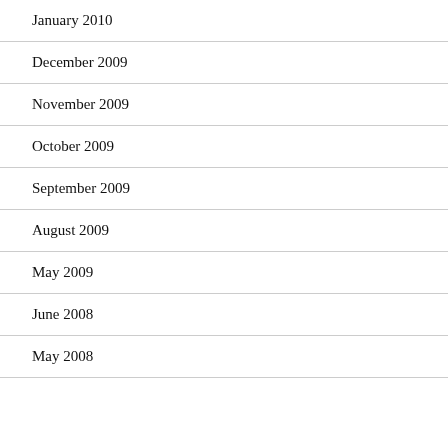January 2010
December 2009
November 2009
October 2009
September 2009
August 2009
May 2009
June 2008
May 2008